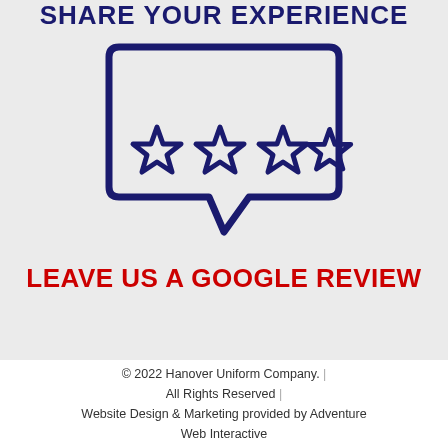SHARE YOUR EXPERIENCE
[Figure (illustration): Speech bubble with four outlined stars inside, drawn in dark navy blue, representing a review/rating graphic]
LEAVE US A GOOGLE REVIEW
© 2022 Hanover Uniform Company. | All Rights Reserved | Website Design & Marketing provided by Adventure Web Interactive